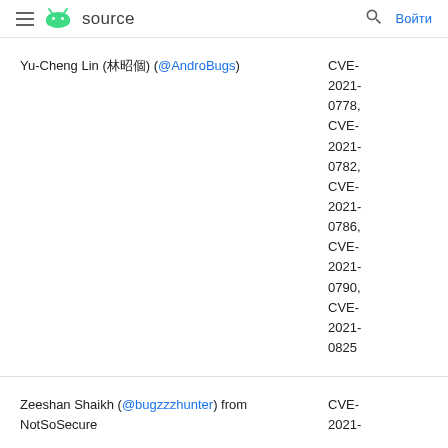≡ [Android logo] source [Search] Войти
| Researcher | CVE |
| --- | --- |
| Yu-Cheng Lin (林昱丞) (@AndroBugs) | CVE-2021-0778, CVE-2021-0782, CVE-2021-0786, CVE-2021-0790, CVE-2021-0825 |
| Zeeshan Shaikh (@bugzzzhunter) from NotSoSecure | CVE-2021- |